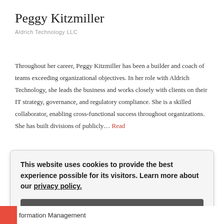Peggy Kitzmiller
Aldrich Technology LLC
Throughout her career, Peggy Kitzmiller has been a builder and coach of teams exceeding organizational objectives. In her role with Aldrich Technology, she leads the business and works closely with clients on their IT strategy, governance, and regulatory compliance. She is a skilled collaborator, enabling cross-functional success throughout organizations. She has built divisions of publicly… Read
This website uses cookies to provide the best experience possible for its visitors. Learn more about our privacy policy.
Got it!
formation Management